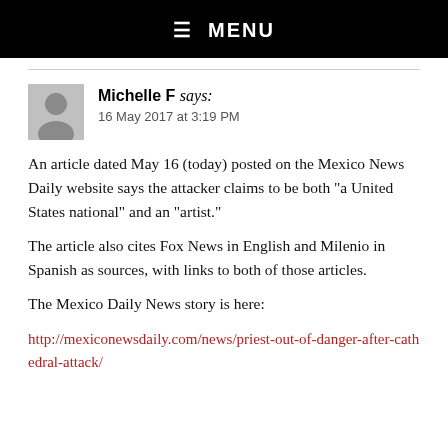☰  MENU
Michelle F says:
16 May 2017 at 3:19 PM
An article dated May 16 (today) posted on the Mexico News Daily website says the attacker claims to be both “a United States national” and an “artist.”
The article also cites Fox News in English and Milenio in Spanish as sources, with links to both of those articles.
The Mexico Daily News story is here:
http://mexiconewsdaily.com/news/priest-out-of-danger-after-cathedral-attack/